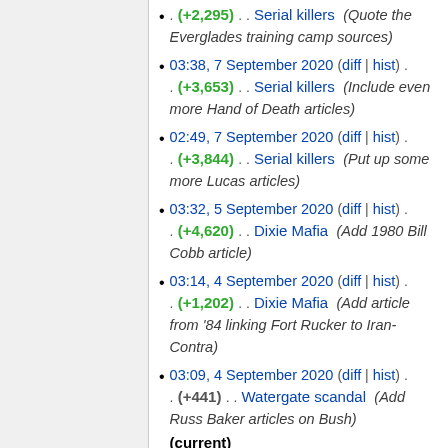. (+2,295) . . Serial killers (Quote the Everglades training camp sources)
03:38, 7 September 2020 (diff | hist) . . (+3,653) . . Serial killers (Include even more Hand of Death articles)
02:49, 7 September 2020 (diff | hist) . . (+3,844) . . Serial killers (Put up some more Lucas articles)
03:32, 5 September 2020 (diff | hist) . . (+4,620) . . Dixie Mafia (Add 1980 Bill Cobb article)
03:14, 4 September 2020 (diff | hist) . . (+1,202) . . Dixie Mafia (Add article from '84 linking Fort Rucker to Iran-Contra)
03:09, 4 September 2020 (diff | hist) . . (+441) . . Watergate scandal (Add Russ Baker articles on Bush) (current)